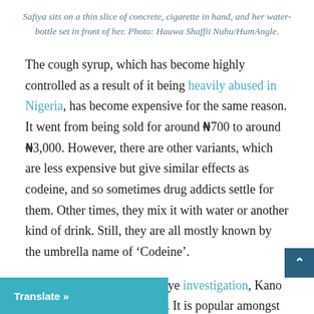Safiya sits on a thin slice of concrete, cigarette in hand, and her water-bottle set in front of her. Photo: Hauwa Shaffii Nuhu/HumAngle.
The cough syrup, which has become highly controlled as a result of it being heavily abused in Nigeria, has become expensive for the same reason. It went from being sold for around ₦700 to around ₦3,000. However, there are other variants, which are less expensive but give similar effects as codeine, and so sometimes drug addicts settle for them. Other times, they mix it with water or another kind of drink. Still, they are all mostly known by the umbrella name of 'Codeine'.
According to a 2018 BBC Eye investigation, Kano is the c[apital/enter/…]mic of the drug. It is popular amongst